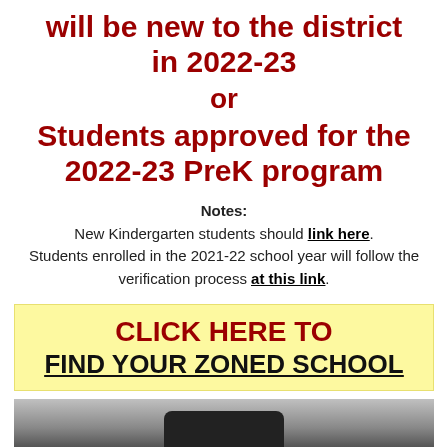will be new to the district in 2022-23
or
Students approved for the 2022-23 PreK program
Notes: New Kindergarten students should link here. Students enrolled in the 2021-22 school year will follow the verification process at this link.
CLICK HERE TO FIND YOUR ZONED SCHOOL
[Figure (photo): Bottom strip showing partial photo, dark background with rounded shape visible at bottom]